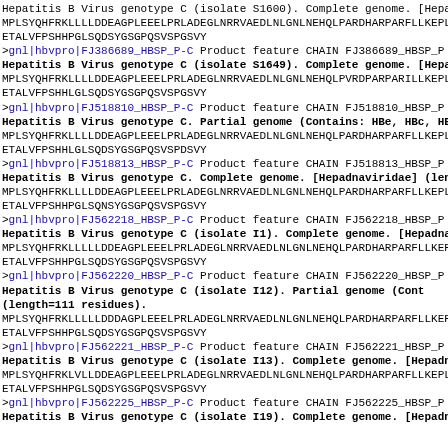Hepatitis B Virus genotype C (isolate S1600). Complete genome. [Hepadn
MPLSYQHFRKLLLLDDEAGPLEEELPRLADEGLNRRVAEDLNLGNLNEHQLPARDHARPARFLLKEPLCF
ETALVFPSHHPGLSQDSYGSGPQSVSPGSVY
>gnl|hbvpro|FJ386689_HBSP_P-C  Product  feature  CHAIN  FJ386689_HBSP_P
Hepatitis B Virus genotype C (isolate S1649). Complete genome. [Hepadn
MPLSYQHFRKLLLLDDEAGPLEEELPRLADEGLNRRVAEDLNLGNLNEHQLPVRDPARPARILLKEPLCF
ETALVFPSHHLGLSQDSYGSGPQSVSPGSVY
>gnl|hbvpro|FJ518810_HBSP_P-C  Product  feature  CHAIN  FJ518810_HBSP_P
Hepatitis B Virus genotype C. Partial genome (Contains: HBe, HBc, HBx,
MPLSYQHFRKLLLLDDEAGPLEEELPRLADEGLNRRVAEDLNLGNLNEHQLPARDHARPARFLLKEPLCF
ETALVFPSHHLGLSQDSYGSGPQSVSPDSVY
>gnl|hbvpro|FJ518813_HBSP_P-C  Product  feature  CHAIN  FJ518813_HBSP_P
Hepatitis B Virus genotype C. Complete genome. [Hepadnaviridae] (lengt
MPLSYQHFRKLLLLDDEAGPLEEELPRLADEGLNRRVAEDLNLGNLNEHQLPARDHARPARFLLKEPLCF
ETALVFPSHHPGLSQNSYGSGPQSVSPGSVY
>gnl|hbvpro|FJ562218_HBSP_P-C  Product  feature  CHAIN  FJ562218_HBSP_P
Hepatitis B Virus genotype C (isolate I1). Complete genome. [Hepadnavi
MPLSYQHFRKLLLLLDDEAGPLEEELPRLADEGLNRRVAEDLNLGNLNEHQLPARDHARPARFLLKEPLCF
ETALVFPSHHPGLSQDSYGSGPQSVSPGSVY
>gnl|hbvpro|FJ562220_HBSP_P-C  Product  feature  CHAIN  FJ562220_HBSP_P
Hepatitis B Virus genotype C (isolate I12). Partial genome (Cont
(length=111 residues).
MPLSYQHFRKLLLLLDDDDAGPLEEELPRLADEGLNRRVAEDLNLGNLNEHQLPARDHARPARFLLKEPLCF
ETALVFPSHHPGLSQDSYGSGPQSVSPGSVY
>gnl|hbvpro|FJ562221_HBSP_P-C  Product  feature  CHAIN  FJ562221_HBSP_P
Hepatitis B Virus genotype C (isolate I13). Complete genome. [Hepadnav
MPLSYQHFRKLVLLDDEAGPLEEELPRLADEDLNRRVAEDLNLGNLNEHQLPARDHARPARFLLKEPLCF
ETALVFPSHHPGLSQDSYGSGPQSVSPGSVY
>gnl|hbvpro|FJ562225_HBSP_P-C  Product  feature  CHAIN  FJ562225_HBSP_P
Hepatitis B Virus genotype C (isolate I19). Complete genome. [Hepadna